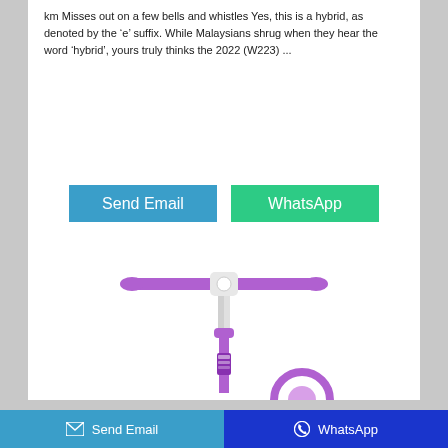km Misses out on a few bells and whistles Yes, this is a hybrid, as denoted by the ‘e’ suffix. While Malaysians shrug when they hear the word ‘hybrid’, yours truly thinks the 2022 (W223) ...
[Figure (other): Blue 'Send Email' button and green 'WhatsApp' button side by side]
[Figure (photo): Purple children's scooter with white stem and purple handlebars, shown from above deck level, with partial purple wheel visible at bottom right]
[Figure (other): Footer bar with blue 'Send Email' button on left (with envelope icon) and dark blue 'WhatsApp' button on right (with WhatsApp circle icon)]